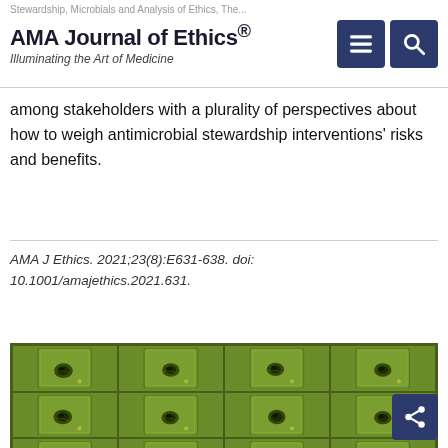AMA Journal of Ethics® — Illuminating the Art of Medicine
among stakeholders with a plurality of perspectives about how to weigh antimicrobial stewardship interventions' risks and benefits.
AMA J Ethics. 2021;23(8):E631-638. doi: 10.1001/amajethics.2021.631.
[Figure (photo): Grid of 4x4 green petri dish or agar plate images showing microbial growth/colonies, arranged in a repeating tile pattern.]